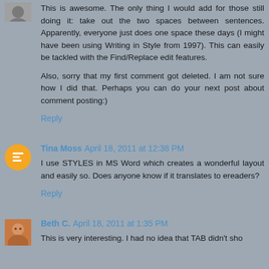This is awesome. The only thing I would add for those still doing it: take out the two spaces between sentences. Apparently, everyone just does one space these days (I might have been using Writing in Style from 1997). This can easily be tackled with the Find/Replace edit features.
Also, sorry that my first comment got deleted. I am not sure how I did that. Perhaps you can do your next post about comment posting:)
Reply
Tina Moss  April 18, 2011 at 12:38 PM
I use STYLES in MS Word which creates a wonderful layout and easily so. Does anyone know if it translates to ereaders?
Reply
Beth C.  April 18, 2011 at 1:35 PM
This is very interesting. I had no idea that TAB didn't sho...